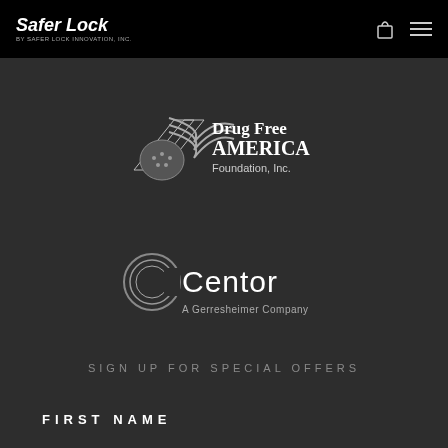Safer Lock
[Figure (logo): Drug Free AMERICA Foundation, Inc. logo — stylized flag with shield graphic in white on dark background]
[Figure (logo): Centor A Gerresheimer Company logo — circular C icon with wordmark in white on dark background]
SIGN UP FOR SPECIAL OFFERS
FIRST NAME